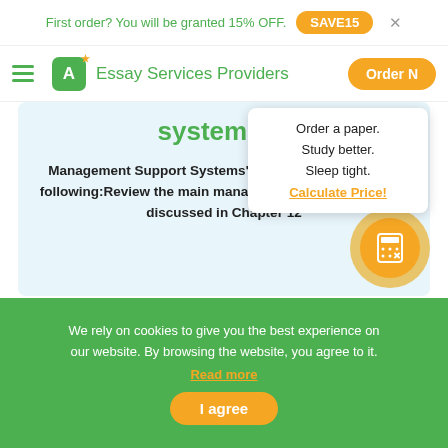First order? You will be granted 15% OFF. SAVE15
Essay Services Providers
system 3...
Management Support Systems" Please respond to the following:Review the main management support systems discussed in Chapter 12
Order a paper. Study better. Sleep tight. Calculate Price!
We rely on cookies to give you the best experience on our website. By browsing the website, you agree to it. Read more
I agree